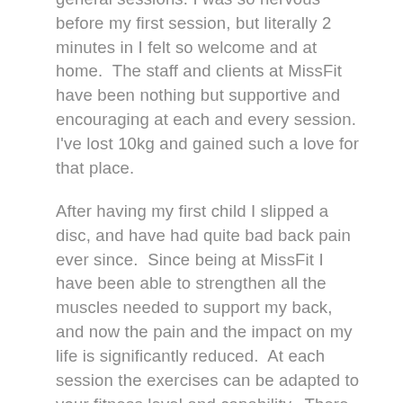general sessions. I was so nervous before my first session, but literally 2 minutes in I felt so welcome and at home.  The staff and clients at MissFit have been nothing but supportive and encouraging at each and every session. I've lost 10kg and gained such a love for that place.
After having my first child I slipped a disc, and have had quite bad back pain ever since.  Since being at MissFit I have been able to strengthen all the muscles needed to support my back, and now the pain and the impact on my life is significantly reduced.  At each session the exercises can be adapted to your fitness level and capability.  There is no comparison to the person next to you, you work to